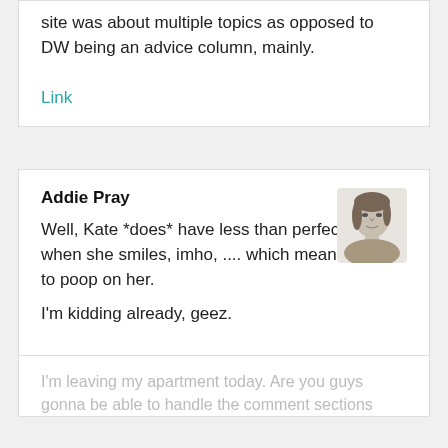site was about multiple topics as opposed to DW being an advice column, mainly.
Link
Addie Pray
Well, Kate *does* have less than perfect lips when she smiles, imho, .... which means it's ok to poop on her.
I'm kidding already, geez.
I'm leaving my apartment today. Are you guys gonna be able to handle the comment sections